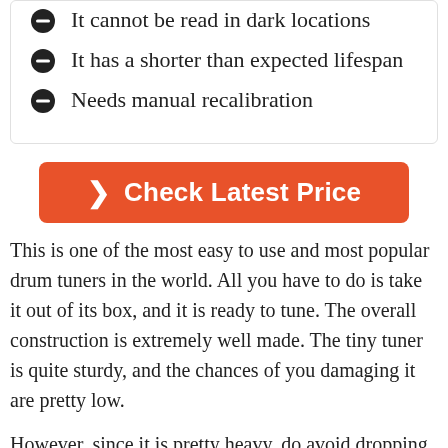It cannot be read in dark locations
It has a shorter than expected lifespan
Needs manual recalibration
[Figure (other): Orange rounded button with right-arrow chevron and text 'Check Latest Price']
This is one of the most easy to use and most popular drum tuners in the world. All you have to do is take it out of its box, and it is ready to tune. The overall construction is extremely well made. The tiny tuner is quite sturdy, and the chances of you damaging it are pretty low.
However, since it is pretty heavy, do avoid dropping it onto your drum head. Since it allows you to tune your drum by directly measuring